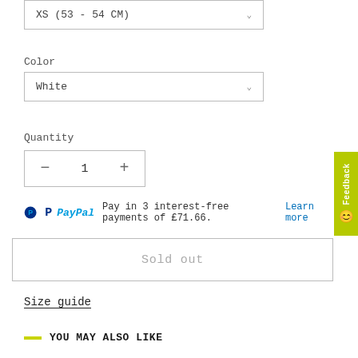XS (53 - 54 CM)
Color
White
Quantity
- 1 +
Pay in 3 interest-free payments of £71.66. Learn more
Sold out
Size guide
YOU MAY ALSO LIKE